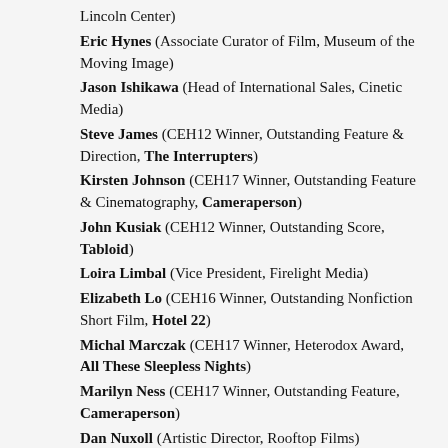Lincoln Center)
Eric Hynes (Associate Curator of Film, Museum of the Moving Image)
Jason Ishikawa (Head of International Sales, Cinetic Media)
Steve James (CEH12 Winner, Outstanding Feature & Direction, The Interrupters)
Kirsten Johnson (CEH17 Winner, Outstanding Feature & Cinematography, Cameraperson)
John Kusiak (CEH12 Winner, Outstanding Score, Tabloid)
Loira Limbal (Vice President, Firelight Media)
Elizabeth Lo (CEH16 Winner, Outstanding Nonfiction Short Film, Hotel 22)
Michal Marczak (CEH17 Winner, Heterodox Award, All These Sleepless Nights)
Marilyn Ness (CEH17 Winner, Outstanding Feature, Cameraperson)
Dan Nuxoll (Artistic Director, Rooftop Films)
Bill Ross (CEH13 Nominee, Outstanding Direction, Tchoupitoulas; CEH16 Nominee, Cinematography,